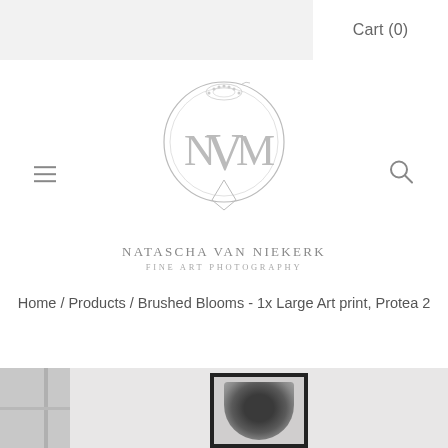Cart (0)
[Figure (logo): Natascha Van Niekerk Fine Art Photography circular monogram logo with NVN initials]
NATASCHA VAN NIEKERK
FINE ART PHOTOGRAPHY
Home / Products / Brushed Blooms - 1x Large Art print, Protea 2
[Figure (photo): Black and white photo of a framed Protea flower art print hung on a light wall, with a window visible to the left]